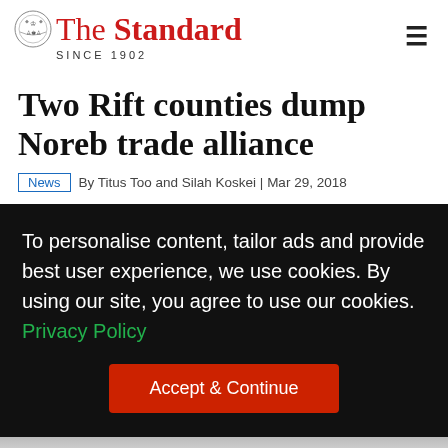The Standard — SINCE 1902
Two Rift counties dump Noreb trade alliance
By Titus Too and Silah Koskei | Mar 29, 2018
To personalise content, tailor ads and provide best user experience, we use cookies. By using our site, you agree to use our cookies. Privacy Policy
Accept & Continue